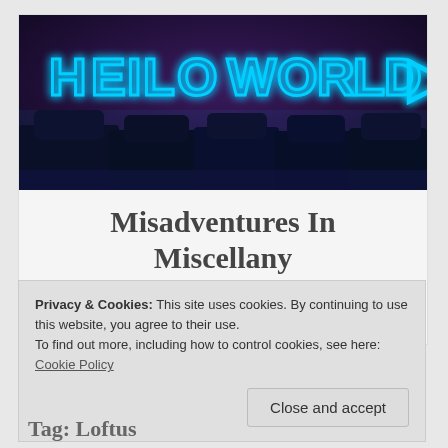[Figure (photo): Neon sign reading 'HELLO WORLD' in blue neon light over dark cars at night]
Misadventures In Miscellany
The Happy Misadventures of Claire Louise....Hey Ho LET'S GO!!!!
Privacy & Cookies: This site uses cookies. By continuing to use this website, you agree to their use.
To find out more, including how to control cookies, see here: Cookie Policy
Close and accept
Tag: Loftus